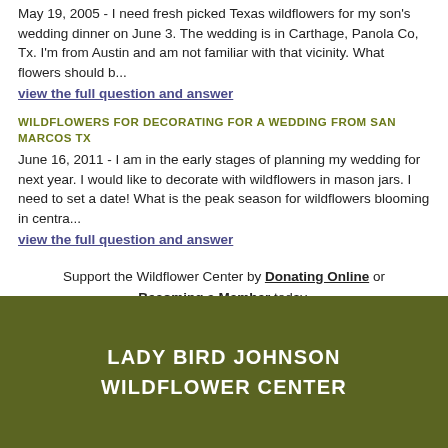May 19, 2005 - I need fresh picked Texas wildflowers for my son's wedding dinner on June 3. The wedding is in Carthage, Panola Co, Tx. I'm from Austin and am not familiar with that vicinity. What flowers should b...
view the full question and answer
WILDFLOWERS FOR DECORATING FOR A WEDDING FROM SAN MARCOS TX
June 16, 2011 - I am in the early stages of planning my wedding for next year. I would like to decorate with wildflowers in mason jars. I need to set a date! What is the peak season for wildflowers blooming in centra...
view the full question and answer
Support the Wildflower Center by Donating Online or Becoming a Member today.
LADY BIRD JOHNSON WILDFLOWER CENTER